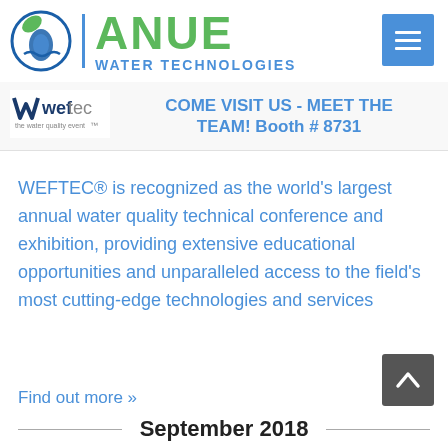[Figure (logo): Anue Water Technologies logo with circular water droplet/leaf icon, vertical blue divider line, green ANUE text, and blue WATER TECHNOLOGIES text]
COME VISIT US - MEET THE TEAM! Booth # 8731
WEFTEC® is recognized as the world's largest annual water quality technical conference and exhibition, providing extensive educational opportunities and unparalleled access to the field's most cutting-edge technologies and services
Find out more »
September 2018